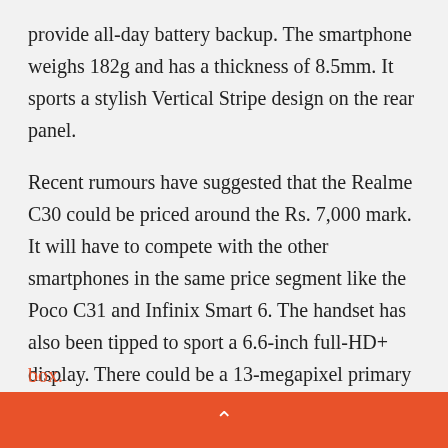provide all-day battery backup. The smartphone weighs 182g and has a thickness of 8.5mm. It sports a stylish Vertical Stripe design on the rear panel.
Recent rumours have suggested that the Realme C30 could be priced around the Rs. 7,000 mark. It will have to compete with the other smartphones in the same price segment like the Poco C31 and Infinix Smart 6. The handset has also been tipped to sport a 6.6-inch full-HD+ display. There could be a 13-megapixel primary camera and a 5-megapixel selfie snapper as well. The battery is also expected to support 10W fast charging. It is most likely to boot Android Go Edition out of the box.
^